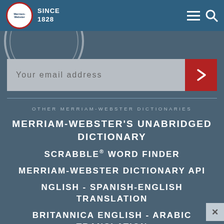[Figure (logo): Merriam-Webster logo circle with text 'Merriam-Webster' and 'SINCE 1828' in navigation bar]
SINCE 1828
Your email address
OTHER MERRIAM-WEBSTER DICTIONARIES
MERRIAM-WEBSTER'S UNABRIDGED DICTIONARY
SCRABBLE® WORD FINDER
MERRIAM-WEBSTER DICTIONARY API
NGLISH - SPANISH-ENGLISH TRANSLATION
BRITANNICA ENGLISH - ARABIC TRANSLATION